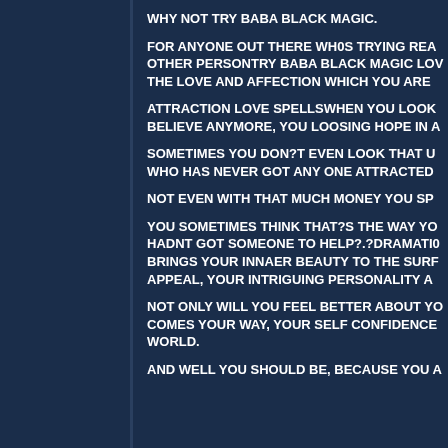WHY NOT TRY BABA BLACK MAGIC.
FOR ANYONE OUT THERE WH0S TRYING REA OTHER PERSONTRY BABA BLACK MAGIC LOV THE LOVE AND AFFECTION WHICH YOU ARE
ATTRACTION LOVE SPELLSWHEN YOU LOOK BELIEVE ANYMORE, YOU LOOSING HOPE IN A
SOMETIMES YOU DON?T EVEN LOOK THAT U WHO HAS NEVER GOT ANY ONE ATTRACTED
NOT EVEN WITH THAT MUCH MONEY YOU SP
YOU SOMETIMES THINK THAT?S THE WAY YO HADNT GOT SOMEONE TO HELP?.?DRAMATIC BRINGS YOUR INNAER BEAUTY TO THE SURF APPEAL, YOUR INTRIGUING PERSONALITY A
NOT ONLY WILL YOU FEEL BETTER ABOUT YO COMES YOUR WAY, YOUR SELF CONFIDENCE WORLD.
AND WELL YOU SHOULD BE, BECAUSE YOU A